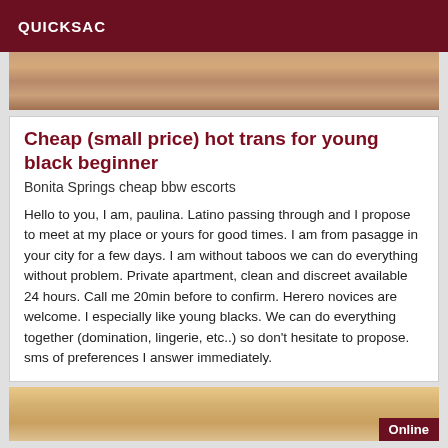QUICKSAC
[Figure (photo): Close-up photo, skin tones in warm brown hues]
Cheap (small price) hot trans for young black beginner
Bonita Springs cheap bbw escorts
Hello to you, I am, paulina. Latino passing through and I propose to meet at my place or yours for good times. I am from pasagge in your city for a few days. I am without taboos we can do everything without problem. Private apartment, clean and discreet available 24 hours. Call me 20min before to confirm. Herero novices are welcome. I especially like young blacks. We can do everything together (domination, lingerie, etc..) so don't hesitate to propose. sms of preferences I answer immediately.
[Figure (photo): Photo showing blonde hair, warm tones, with Online badge]